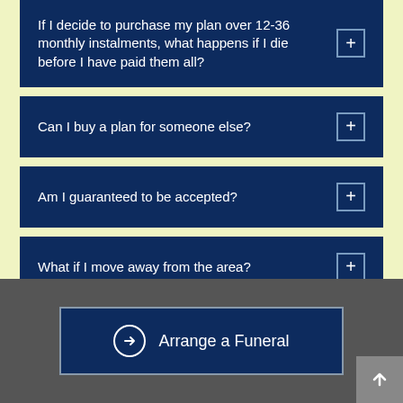If I decide to purchase my plan over 12-36 monthly instalments, what happens if I die before I have paid them all?
Can I buy a plan for someone else?
Am I guaranteed to be accepted?
What if I move away from the area?
How do I know the money will be there when it's needed?
Arrange a Funeral